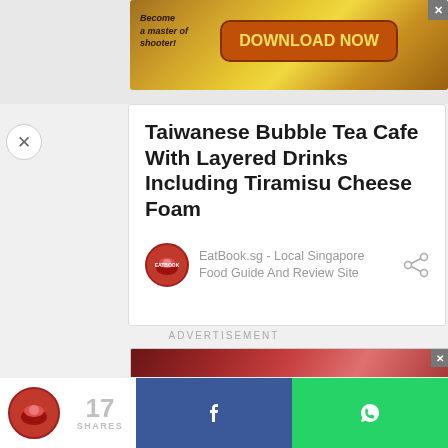[Figure (screenshot): Top advertisement banner with game download promotion - orange/gold gradient background with 'Become a master of shooter!' text and 'DOWNLOAD NOW' button]
[Figure (screenshot): Close X button on left side]
Taiwanese Bubble Tea Cafe With Layered Drinks Including Tiramisu Cheese Foam
EatBook.sg - Local Singapore Food Guide And Review Site
ADVERTISEMENT
[Figure (screenshot): Bottom advertisement banner with red/maroon gradient background]
17 SHARES
[Figure (screenshot): Facebook share button (blue) and WhatsApp share button (green) in bottom share bar]